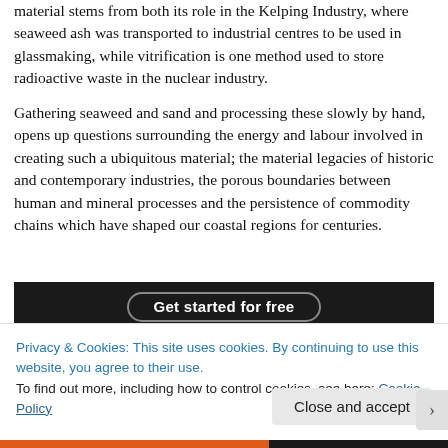material stems from both its role in the Kelping Industry, where seaweed ash was transported to industrial centres to be used in glassmaking, while vitrification is one method used to store radioactive waste in the nuclear industry.
Gathering seaweed and sand and processing these slowly by hand, opens up questions surrounding the energy and labour involved in creating such a ubiquitous material; the material legacies of historic and contemporary industries, the porous boundaries between human and mineral processes and the persistence of commodity chains which have shaped our coastal regions for centuries.
[Figure (other): Dark button/banner with text 'Get started for free' in white bold font on black background with rounded border outline]
Privacy & Cookies: This site uses cookies. By continuing to use this website, you agree to their use.
To find out more, including how to control cookies, see here: Cookie Policy
Close and accept